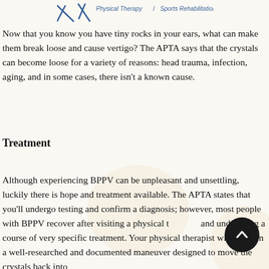Physical Therapy / Sports Rehabilitation
Now that you know you have tiny rocks in your ears, what can make them break loose and cause vertigo? The APTA says that the crystals can become loose for a variety of reasons: head trauma, infection, aging, and in some cases, there isn't a known cause.
Treatment
Although experiencing BPPV can be unpleasant and unsettling, luckily there is hope and treatment available. The APTA states that you'll undergo testing and confirm a diagnosis; however, most people with BPPV recover after visiting a physical therapist and undergoing a course of very specific treatment. Your physical therapist will perform a well-researched and documented maneuver designed to move the crystals back into